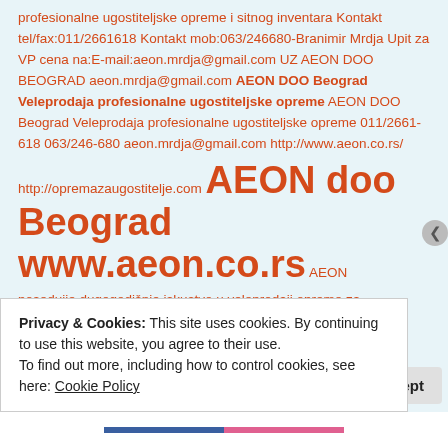profesionalne ugostiteljske opreme i sitnog inventara Kontakt tel/fax:011/2661618 Kontakt mob:063/246680-Branimir Mrdja Upit za VP cena na:E-mail:aeon.mrdja@gmail.com UZ AEON DOO BEOGRAD aeon.mrdja@gmail.com AEON DOO Beograd Veleprodaja profesionalne ugostiteljske opreme AEON DOO Beograd Veleprodaja profesionalne ugostiteljske opreme 011/2661-618 063/246-680 aeon.mrdja@gmail.com http://www.aeon.co.rs/ http://opremazaugostitelje.com AEON doo Beograd www.aeon.co.rs AEON posedujje dugogodišnje iskustvo u veleprodaji opreme za ugostiteljsrvo pri prodaji profesionalne ugostiteljske opreme AEON ugostiteljska oprema.
Privacy & Cookies: This site uses cookies. By continuing to use this website, you agree to their use. To find out more, including how to control cookies, see here: Cookie Policy
Close and accept